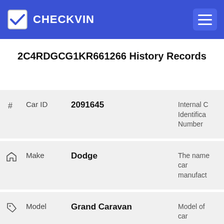CHECKVIN
2C4RDGCG1KR661266 History Records
| # | Label | Value | Description |
| --- | --- | --- | --- |
| # | Car ID | 2091645 | Internal Car Identification Number |
| house icon | Make | Dodge | The name of car manufacturer |
| tag icon | Model | Grand Caravan | Model of car |
| icon | Trim | SXT TWP |  |